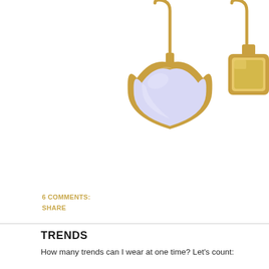[Figure (photo): Two gold drop earrings with gemstone pendants on white background. One earring shows a full teardrop-shaped pale blue/lavender stone in a gold bezel setting with a gold hook. The second earring is partially cropped showing a similar gold setting.]
6 COMMENTS:
SHARE
TRENDS
How many trends can I wear at one time? Let's count: